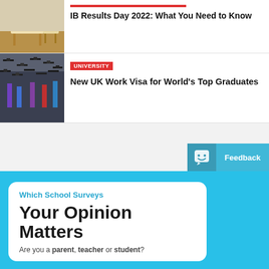[Figure (photo): Exam desk and chair in a hall with wooden floor]
IB Results Day 2022: What You Need to Know
[Figure (photo): Crowd of graduates in caps and gowns seen from behind]
UNIVERSITY
New UK Work Visa for World's Top Graduates
[Figure (screenshot): Feedback button with smiley face icon]
Which School Surveys
Your Opinion Matters
Are you a parent, teacher or student?